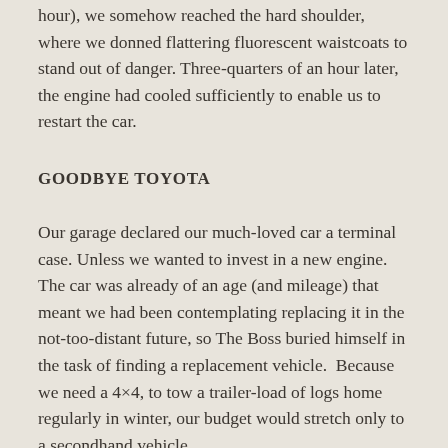hour), we somehow reached the hard shoulder, where we donned flattering fluorescent waistcoats to stand out of danger. Three-quarters of an hour later, the engine had cooled sufficiently to enable us to restart the car.
GOODBYE TOYOTA
Our garage declared our much-loved car a terminal case. Unless we wanted to invest in a new engine. The car was already of an age (and mileage) that meant we had been contemplating replacing it in the not-too-distant future, so The Boss buried himself in the task of finding a replacement vehicle.  Because we need a 4×4, to tow a trailer-load of logs home regularly in winter, our budget would stretch only to a secondhand vehicle.
Buying a secondhand 4×4 isn't easy on Mallorca. Unlike in the UK, many car dealers offer few used vehicles. We even looked at what was available for sale